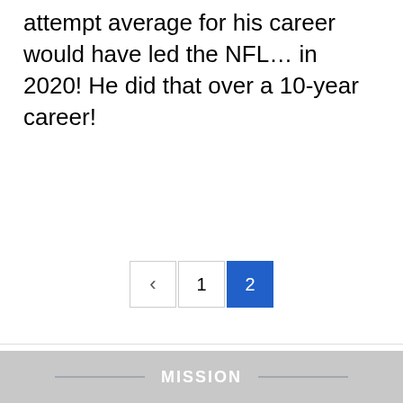attempt average for his career would have led the NFL... in 2020! He did that over a 10-year career!
[Figure (other): Pagination controls showing back arrow, page 1, and page 2 (active, highlighted in blue)]
[Figure (other): Social share buttons: Facebook (blue), Twitter (cyan), and a plus button]
MISSION